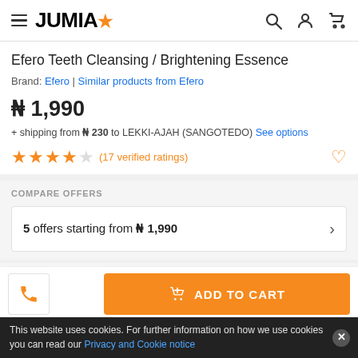JUMIA
Efero Teeth Cleansing / Brightening Essence
Brand: Efero | Similar products from Efero
₦ 1,990
+ shipping from ₦ 230 to LEKKI-AJAH (SANGOTEDO) See options
(17 verified ratings)
COMPARE OFFERS
5 offers starting from ₦ 1,990
PROMOTIONS
ADD TO CART
This website uses cookies. For further information on how we use cookies you can read our Privacy and Cookie notice